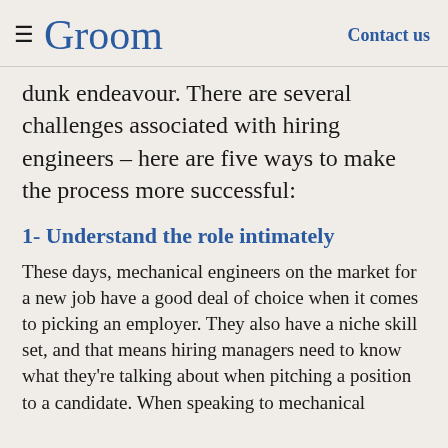≡ Groom   Contact us
dunk endeavour. There are several challenges associated with hiring engineers – here are five ways to make the process more successful:
1- Understand the role intimately
These days, mechanical engineers on the market for a new job have a good deal of choice when it comes to picking an employer. They also have a niche skill set, and that means hiring managers need to know what they're talking about when pitching a position to a candidate. When speaking to mechanical